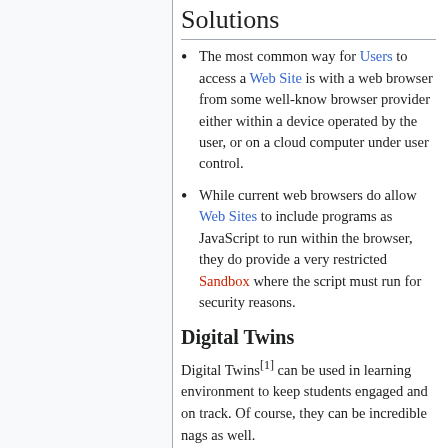Solutions
The most common way for Users to access a Web Site is with a web browser from some well-know browser provider either within a device operated by the user, or on a cloud computer under user control.
While current web browsers do allow Web Sites to include programs as JavaScript to run within the browser, they do provide a very restricted Sandbox where the script must run for security reasons.
Digital Twins
Digital Twins[1] can be used in learning environment to keep students engaged and on track. Of course, they can be incredible nags as well.